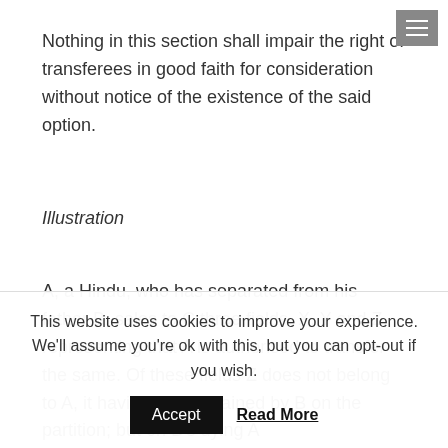Nothing in this section shall impair the right of transferees in good faith for consideration without notice of the existence of the said option.
Illustration
A, a Hindu, who has separated from his father B, sales to C three fields, X, Y and Z, representing that A is authorised to transfer the same. Of these fields Z does not belong to A, it having been retained by B on the partition; but on B's dying A
This website uses cookies to improve your experience. We'll assume you're ok with this, but you can opt-out if you wish.